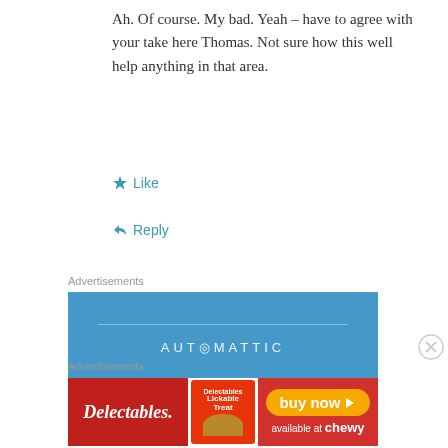Ah. Of course. My bad. Yeah – have to agree with your take here Thomas. Not sure how this well help anything in that area.
Like
Reply
Advertisements
[Figure (infographic): Automattic advertisement with blue background, brand name AUTOMATTIC, tagline 'Love working again.' and Apply button]
Advertisements
[Figure (infographic): Delectables cat treat advertisement with red background, product image, and 'buy now available at chewy' button]